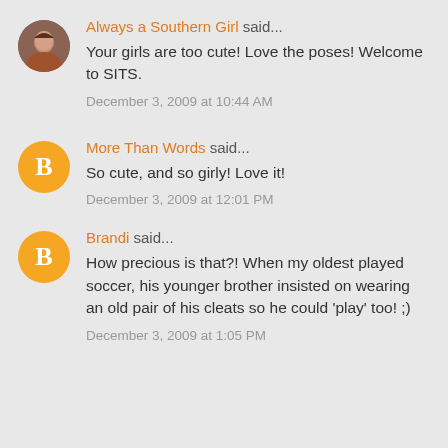Always a Southern Girl said...
Your girls are too cute! Love the poses! Welcome to SITS.
December 3, 2009 at 10:44 AM
More Than Words said...
So cute, and so girly! Love it!
December 3, 2009 at 12:01 PM
Brandi said...
How precious is that?! When my oldest played soccer, his younger brother insisted on wearing an old pair of his cleats so he could 'play' too! ;)
December 3, 2009 at 1:05 PM